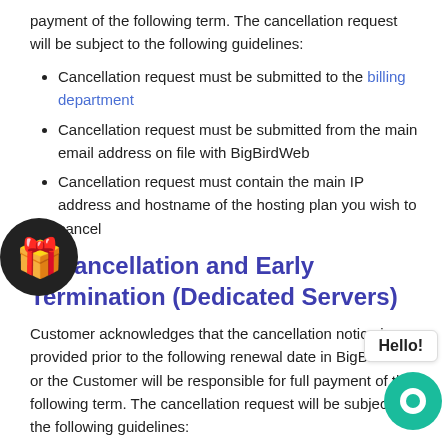payment of the following term. The cancellation request will be subject to the following guidelines:
Cancellation request must be submitted to the billing department
Cancellation request must be submitted from the main email address on file with BigBirdWeb
Cancellation request must contain the main IP address and hostname of the hosting plan you wish to cancel
[Figure (illustration): Black circle with yellow gift box emoji icon]
5. Cancellation and Early Termination (Dedicated Servers)
Customer acknowledges that the cancellation notice is provided prior to the following renewal date in BigBirdWeb or the Customer will be responsible for full payment of the following term. The cancellation request will be subject to the following guidelines:
[Figure (illustration): Hello chat bubble popup]
[Figure (illustration): Green circle chat support button]